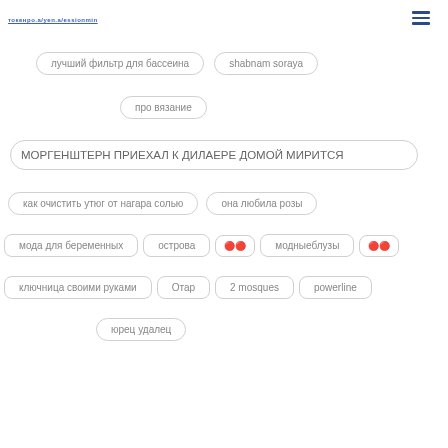токенро.a/yen.a/essionmin
лучший фильтр для бассеина
shabnam soraya
про вязание
МОРГЕНШТЕРН ПРИЕХАЛ К ДИЛАЕРЕ ДОМОЙ МИРИТСЯ
как очистить утюг от нагара солью
она любила розы
мода для беременных
острова
🔴🔴
модныеблузы
🔴🔴
ключница своими руками
Отар
2 mosques
powerline
юрец удалец